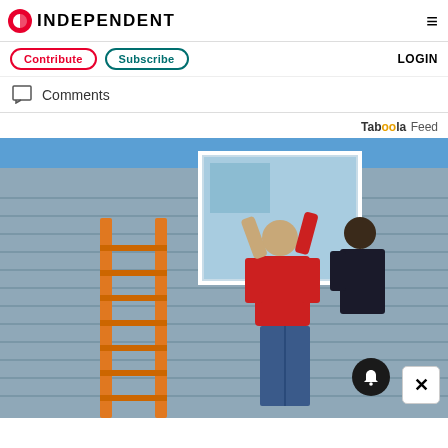INDEPENDENT
Contribute  Subscribe  LOGIN
Comments
Taboola Feed
[Figure (photo): Workers installing or replacing a window on the exterior of a house. One person in a red shirt is lifting a window frame while standing next to an orange ladder. The house has gray siding and blue sky is visible in the background.]